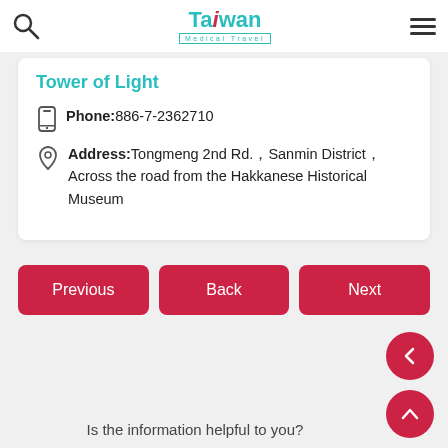Taiwan Medical Travel
Tower of Light
Phone: 886-7-2362710
Address: Tongmeng 2nd Rd., Sanmin District, Across the road from the Hakkanese Historical Museum
Previous
Back
Next
Is the information helpful to you?